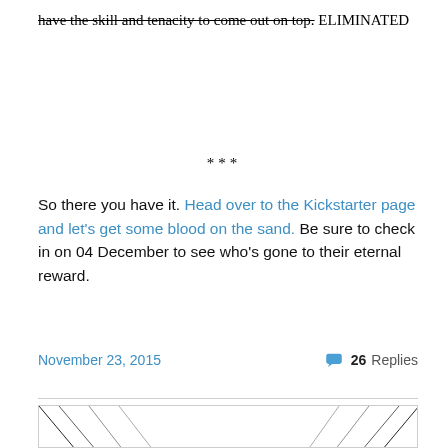have the skill and tenacity to come out on top. ELIMINATED
***
So there you have it. Head over to the Kickstarter page and let's get some blood on the sand. Be sure to check in on 04 December to see who's gone to their eternal reward.
November 23, 2015   26 Replies
[Figure (illustration): Black and white graphic with diagonal speed lines and the text 'neil sharpson' in a bold geometric font, with a small illustrated figure at the bottom center.]